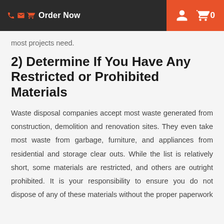Order Now  0
most projects need.
2) Determine If You Have Any Restricted or Prohibited Materials
Waste disposal companies accept most waste generated from construction, demolition and renovation sites. They even take most waste from garbage, furniture, and appliances from residential and storage clear outs. While the list is relatively short, some materials are restricted, and others are outright prohibited. It is your responsibility to ensure you do not dispose of any of these materials without the proper paperwork